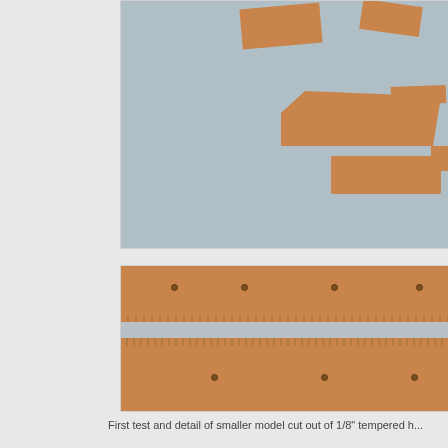[Figure (photo): Top-down photo of multiple cardboard pieces cut from 1/8 inch tempered hardboard, laid out on a gray surface showing various shapes and sizes.]
[Figure (photo): Close-up detail photo showing the edge quality of a smaller model cut from 1/8 inch tempered hardboard, with two strips showing rough/serrated cut edges and small drill holes.]
First test and detail of smaller model cut out of 1/8" tempered h...